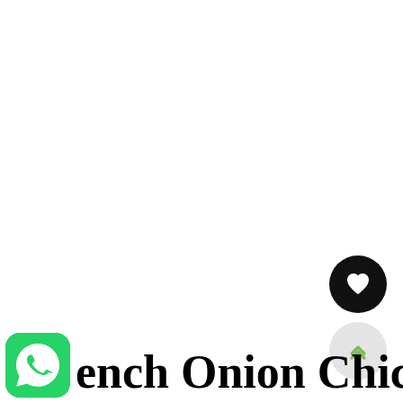[Figure (logo): WhatsApp green logo icon (rounded square with phone handset symbol)]
[Figure (other): Black circular heart/favorite button icon]
[Figure (other): Light gray circular scroll-up / chevron button]
French Onion Chicken